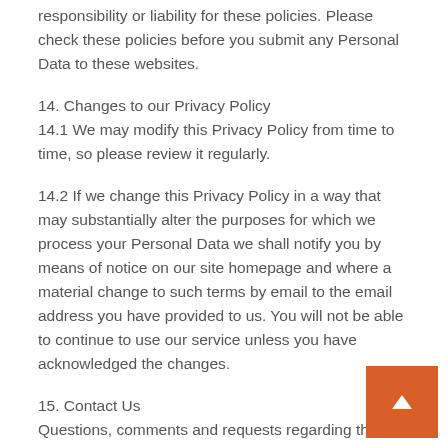responsibility or liability for these policies. Please check these policies before you submit any Personal Data to these websites.
14. Changes to our Privacy Policy
14.1 We may modify this Privacy Policy from time to time, so please review it regularly.
14.2 If we change this Privacy Policy in a way that may substantially alter the purposes for which we process your Personal Data we shall notify you by means of notice on our site homepage and where a material change to such terms by email to the email address you have provided to us. You will not be able to continue to use our service unless you have acknowledged the changes.
15. Contact Us
Questions, comments and requests regarding this